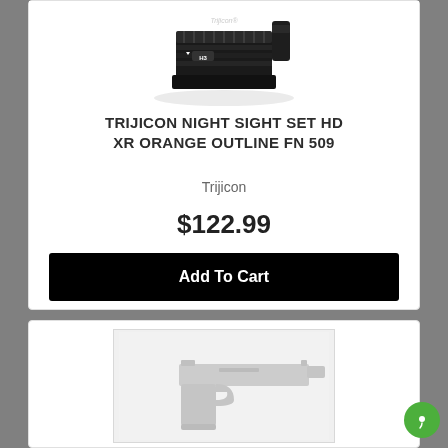[Figure (photo): Trijicon night sight set HD XR product photo showing black metal sight component with Trijicon branding and H3 label]
TRIJICON NIGHT SIGHT SET HD XR ORANGE OUTLINE FN 509
Trijicon
$122.99
Add To Cart
[Figure (photo): Second product listing showing a firearm/handgun image placeholder with light gray background and watermark-style gun silhouette]